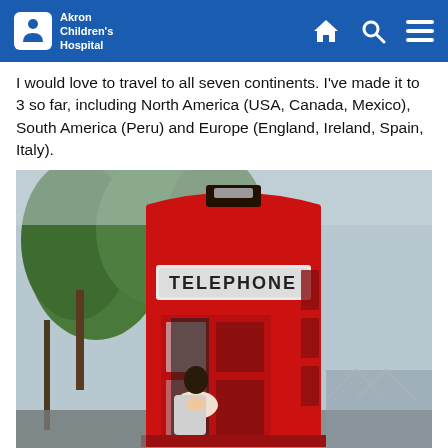Akron Children's Hospital
I would love to travel to all seven continents. I've made it to 3 so far, including North America (USA, Canada, Mexico), South America (Peru) and Europe (England, Ireland, Spain, Italy).
[Figure (photo): A woman smiling inside a red British telephone box labeled TELEPHONE, with trees in the background on an overcast day in England.]